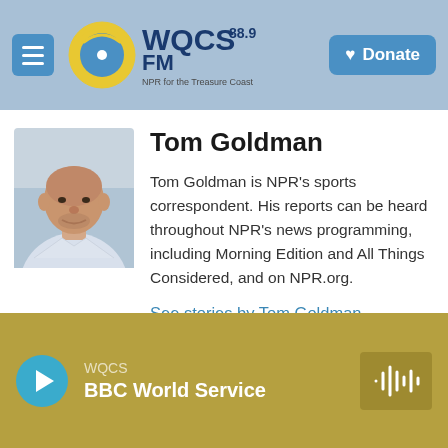[Figure (logo): WQCS 88.9 FM NPR for the Treasure Coast radio station logo with circular antenna icon]
Donate
[Figure (photo): Headshot photo of Tom Goldman, a bald man in a light blue/white shirt]
Tom Goldman
Tom Goldman is NPR's sports correspondent. His reports can be heard throughout NPR's news programming, including Morning Edition and All Things Considered, and on NPR.org.
See stories by Tom Goldman
WQCS
BBC World Service